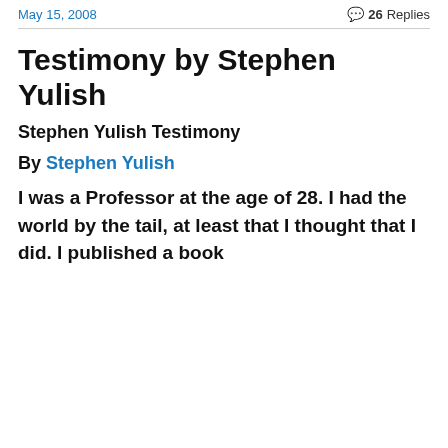May 15, 2008    💬 26 Replies
Testimony by Stephen Yulish
Stephen Yulish Testimony
By Stephen Yulish
I was a Professor at the age of 28. I had the world by the tail, at least that I thought that I did. I published a book